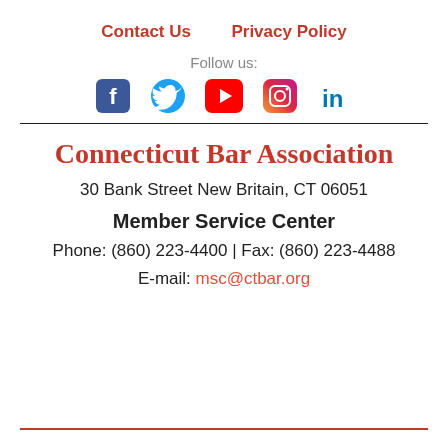Contact Us   Privacy Policy
Follow us:
[Figure (other): Social media icons: Facebook, Twitter, YouTube, Instagram, LinkedIn]
Connecticut Bar Association
30 Bank Street New Britain, CT 06051
Member Service Center
Phone: (860) 223-4400 | Fax: (860) 223-4488
E-mail: msc@ctbar.org